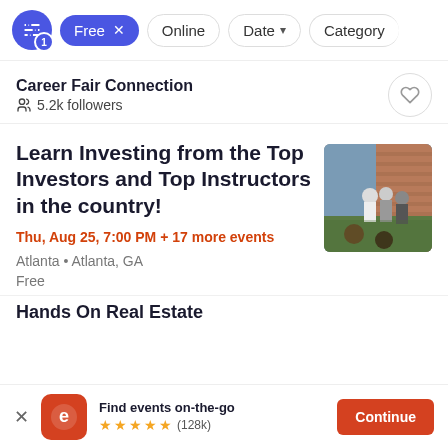Free x  Online  Date  Category
Career Fair Connection
5.2k followers
Learn Investing from the Top Investors and Top Instructors in the country!
Thu, Aug 25, 7:00 PM + 17 more events
Atlanta • Atlanta, GA
Free
[Figure (photo): People standing outdoors near a brick wall, viewed from behind]
Hands On Real Estate
Find events on-the-go ★★★★★ (128k)  Continue